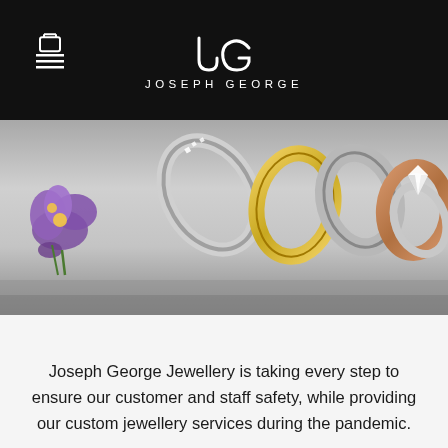JOSEPH GEORGE
[Figure (photo): Hero banner showing multiple jewellery rings on a grey gradient background with purple flowers on the left side. Rings include diamond solitaire, gold band, yellow gold ring, rose gold band, and diamond cluster ring.]
Joseph George Jewellery is taking every step to ensure our customer and staff safety, while providing our custom jewellery services during the pandemic.